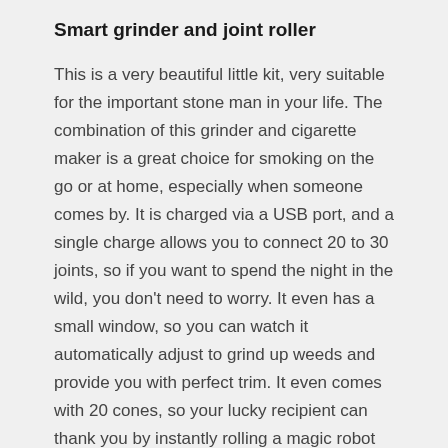Smart grinder and joint roller
This is a very beautiful little kit, very suitable for the important stone man in your life. The combination of this grinder and cigarette maker is a great choice for smoking on the go or at home, especially when someone comes by. It is charged via a USB port, and a single charge allows you to connect 20 to 30 joints, so if you want to spend the night in the wild, you don't need to worry. It even has a small window, so you can watch it automatically adjust to grind up weeds and provide you with perfect trim. It even comes with 20 cones, so your lucky recipient can thank you by instantly rolling a magic robot joint. It is beautiful, stylish and easy to use. The only difficult thing is not to buy one for